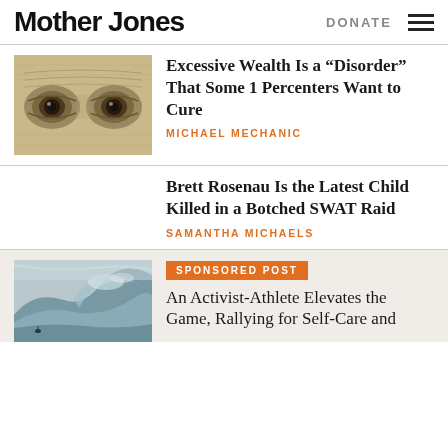Mother Jones | DONATE
[Figure (photo): Close-up of Benjamin Franklin's eyes from a dollar bill, sepia toned]
Excessive Wealth Is a “Disorder” That Some 1 Percenters Want to Cure
MICHAEL MECHANIC
Brett Rosenau Is the Latest Child Killed in a Botched SWAT Raid
SAMANTHA MICHAELS
SPONSORED POST
[Figure (photo): Surfer on a massive ocean wave, aerial view, mist and spray]
An Activist-Athlete Elevates the Game, Rallying for Self-Care and